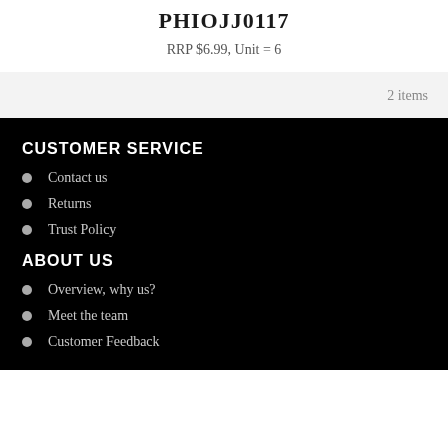PHIOJJ0117
RRP $6.99, Unit = 6
2 items
CUSTOMER SERVICE
Contact us
Returns
Trust Policy
ABOUT US
Overview, why us?
Meet the team
Customer Feedback